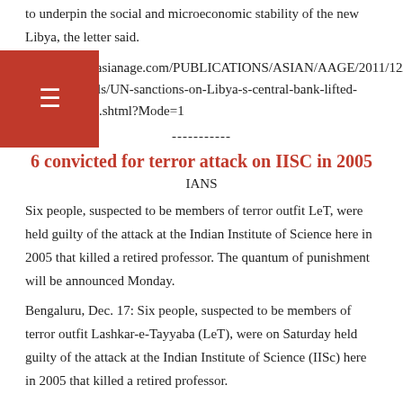to underpin the social and microeconomic stability of the new Libya, the letter said.
http://epaper.asianage.com/PUBLICATIONS/ASIAN/AAGE/2011/12/18/ArticleHtmls/UN-sanctions-on-Libya-s-central-bank-lifted-22011009002.shtml?Mode=1
-----------
6 convicted for terror attack on IISC in 2005
IANS
Six people, suspected to be members of terror outfit LeT, were held guilty of the attack at the Indian Institute of Science here in 2005 that killed a retired professor. The quantum of punishment will be announced Monday.
Bengaluru, Dec. 17: Six people, suspected to be members of terror outfit Lashkar-e-Tayyaba (LeT), were on Saturday held guilty of the attack at the Indian Institute of Science (IISc) here in 2005 that killed a retired professor.